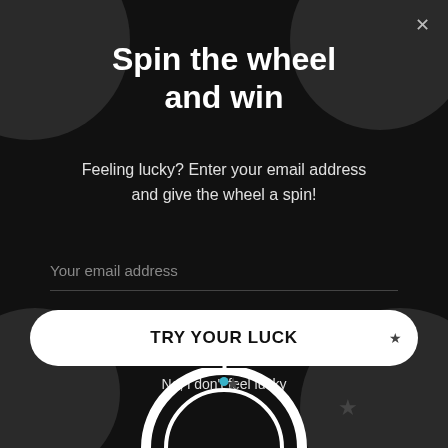[Figure (illustration): Dark modal popup with decorative dark grey blobs in corners and a partial spinning wheel at the bottom]
Spin the wheel and win
Feeling lucky? Enter your email address and give the wheel a spin!
Your email address
TRY YOUR LUCK
No, i don't feel lucky